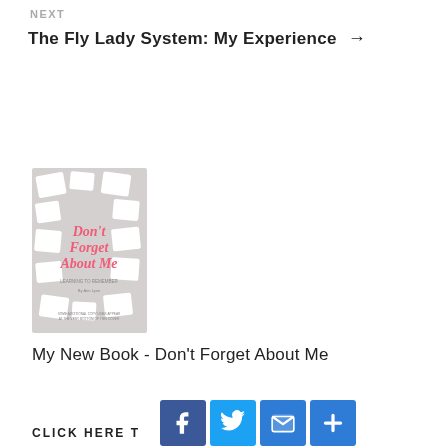NEXT
The Fly Lady System: My Experience →
[Figure (photo): Book cover for 'Don't Forget About Me' on a grey background with scattered illustrations]
My New Book - Don't Forget About Me
CLICK HERE TO SUBSCRIBE
[Figure (infographic): Social sharing icons: Facebook, Twitter, Email, and More (+) buttons]